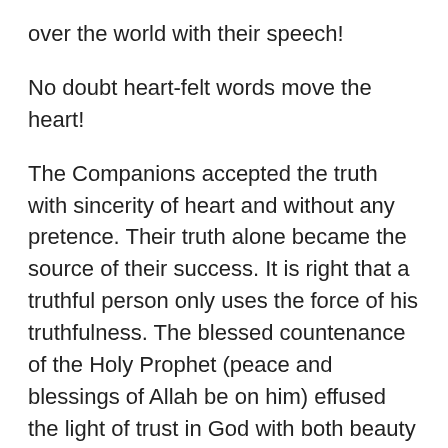over the world with their speech!
No doubt heart-felt words move the heart!
The Companions accepted the truth with sincerity of heart and without any pretence. Their truth alone became the source of their success. It is right that a truthful person only uses the force of his truthfulness. The blessed countenance of the Holy Prophet (peace and blessings of Allah be on him) effused the light of trust in God with both beauty and glory. It had attraction and power which drew hearts to it. And his community was exemplary in obedience of Prophet and its stability proved to be so supremely auspicious that whoever saw them could not help but being drawn to them. In short there is a need now for the condition and unity of the Companions to be replicated. Because Allah